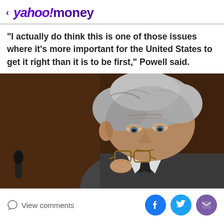< yahoo!money
"I actually do think this is one of those issues where it's more important for the United States to get it right than it is to be first," Powell said.
[Figure (photo): Close-up photo of Jerome Powell, an older man with gray hair, looking downward and holding his glasses in his hand, with a dark background and a microphone visible in the lower left.]
View comments